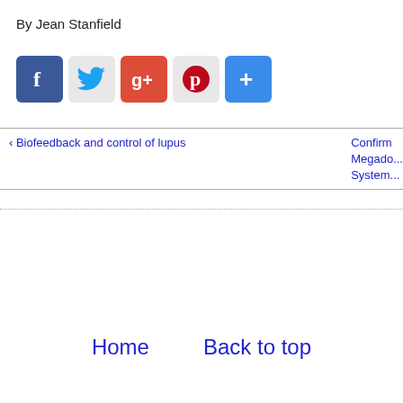By Jean Stanfield
[Figure (other): Social sharing icons: Facebook, Twitter, Google+, Pinterest, Share (+)]
‹ Biofeedback and control of lupus
Confirm Megado... System...
Home   Back to top